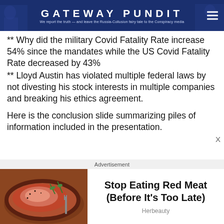GATEWAY PUNDIT — We report the truth — and leave the Russia-Collusion fairy tale to the Conspiracy media
** Why did the military Covid Fatality Rate increase 54% since the mandates while the US Covid Fatality Rate decreased by 43%
** Lloyd Austin has violated multiple federal laws by not divesting his stock interests in multiple companies and breaking his ethics agreement.
Here is the conclusion slide summarizing piles of information included in the presentation.
[Figure (photo): Advertisement banner: image of grilled steak on the left, text 'Stop Eating Red Meat (Before It's Too Late)' on the right, sourced from Herbeauty]